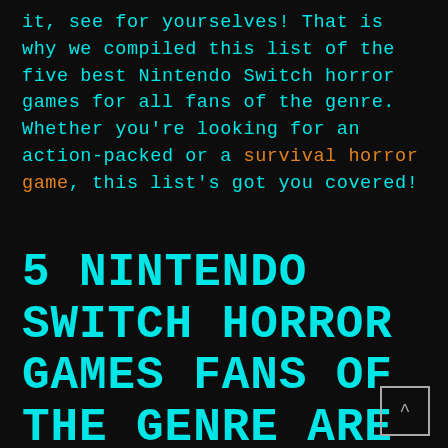it, see for yourselves! That is why we compiled this list of the five best Nintendo Switch horror games for all fans of the genre. Whether you're looking for an action-packed or a survival horror game, this list's got you covered!
5 NINTENDO SWITCH HORROR GAMES FANS OF THE GENRE ARE GOING TO LOVE